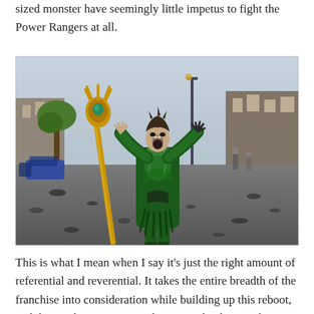sized monster have seemingly little impetus to fight the Power Rangers at all.
[Figure (photo): A woman in a green armored villain costume (Rita Repulsa from Power Rangers 2017) stands in the middle of a street holding a golden staff, arms raised and mouth open in a scream. The street is littered with debris and cars. Urban setting.]
This is what I mean when I say it's just the right amount of referential and reverential. It takes the entire breadth of the franchise into consideration while building up this reboot, and then makes it into something new that honors the source material while being its own thing. It